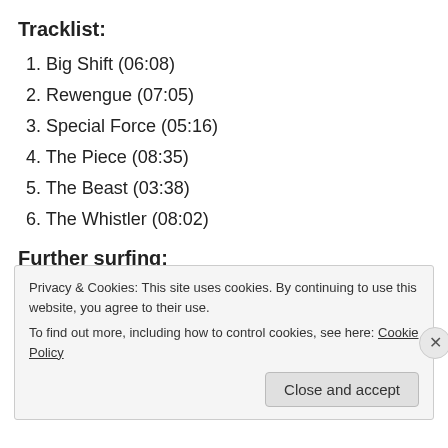Tracklist:
1. Big Shift (06:08)
2. Rewengue (07:05)
3. Special Force (05:16)
4. The Piece (08:35)
5. The Beast (03:38)
6. The Whistler (08:02)
Further surfing:
Sloath on Bandcamp
Privacy & Cookies: This site uses cookies. By continuing to use this website, you agree to their use. To find out more, including how to control cookies, see here: Cookie Policy